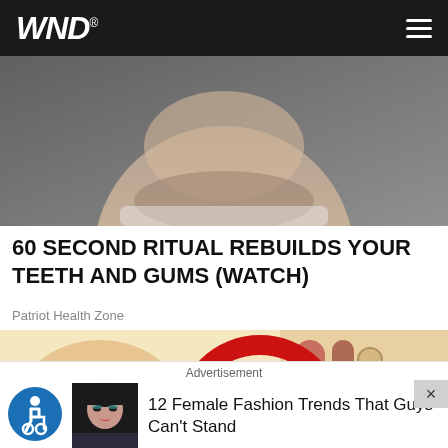WND
[Figure (photo): Close-up photo of a person's chin and neck area, black and white/grayscale]
60 SECOND RITUAL REBUILDS YOUR TEETH AND GUMS (WATCH)
Patriot Health Zone
[Figure (illustration): Medical illustration showing cross-section of ear and throat anatomy with a red prohibition/no symbol overlay]
Advertisement
[Figure (photo): Accessibility icon - blue circle with wheelchair user symbol]
[Figure (photo): Thumbnail photo of a woman with dramatic makeup]
12 Female Fashion Trends That Guys Can't Stand